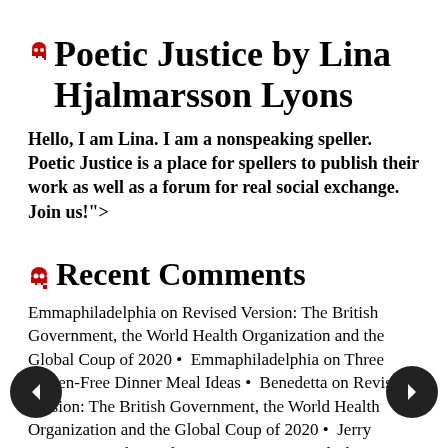Poetic Justice by Lina Hjalmarsson Lyons
Hello, I am Lina. I am a nonspeaking speller. Poetic Justice is a place for spellers to publish their work as well as a forum for real social exchange. Join us!">
Recent Comments
Emmaphiladelphia on Revised Version: The British Government, the World Health Organization and the Global Coup of 2020 •  Emmaphiladelphia on Three Gluten-Free Dinner Meal Ideas •  Benedetta on Revised Version: The British Government, the World Health Organization and the Global Coup of 2020 •  Jerry Martinez on Three Gluten-Free Dinner Meal Ideas •  Jerry Martinez on Three